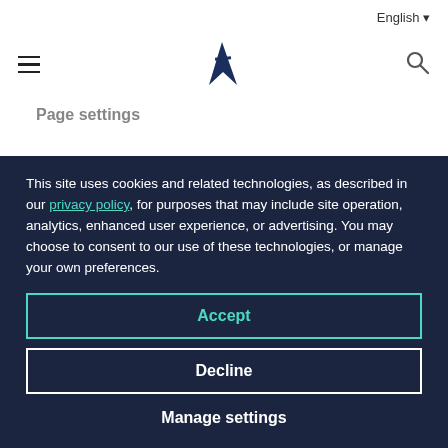English ▼ [hamburger menu] [A logo] [search icon]
To launch Page settings from a published page:
1. Click the cog icon in the top right.
This site uses cookies and related technologies, as described in our privacy policy, for purposes that may include site operation, analytics, enhanced user experience, or advertising. You may choose to consent to our use of these technologies, or manage your own preferences.
Accept
Decline
Manage settings